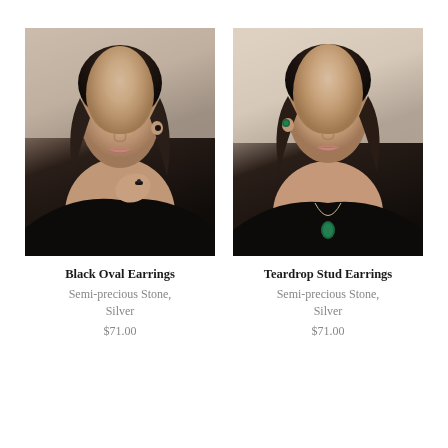[Figure (photo): Photo of a woman wearing black oval earrings and a black ring, dressed in a black top, photographed from chest up against a neutral background]
Black Oval Earrings
Semi-precious Stone, Silver
$71.00
[Figure (photo): Photo of a woman wearing green teardrop stud earrings and a matching green pendant necklace, dressed in a black top, photographed from chest up against a light neutral background]
Teardrop Stud Earrings
Semi-precious Stone, Silver
$71.00